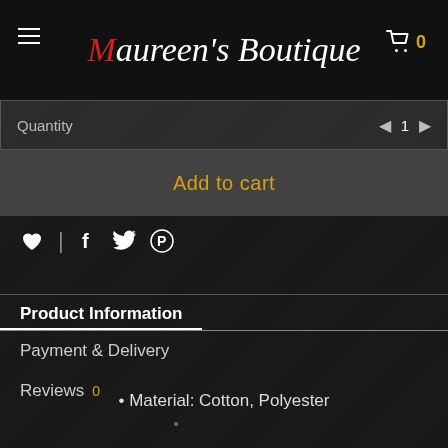Maureen's Boutique
Quantity  1
Add to cart
[Figure (illustration): Social share icons row: heart, vertical separator, Facebook f, Twitter bird, Pinterest P]
Product Information
Payment & Delivery
Reviews 0
• Material: Cotton, Polyester